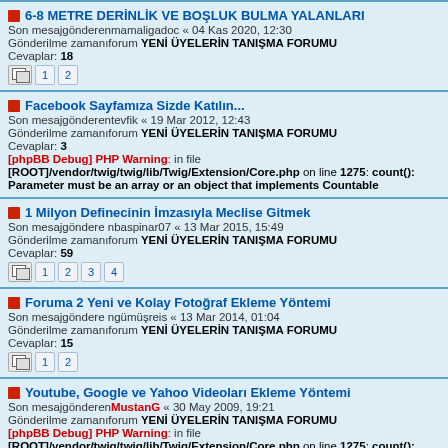6-8 METRE DERİNLİK VE BOŞLUK BULMA YALANLARI
Son mesajgönderenmamaligadoc « 04 Kas 2020, 12:30
Gönderilme zamanıforum YENİ ÜYELERİN TANIŞMA FORUMU
Cevaplar: 18
Facebook Sayfamıza Sizde Katılın...
Son mesajgönderentevfik « 19 Mar 2012, 12:43
Gönderilme zamanıforum YENİ ÜYELERİN TANIŞMA FORUMU
Cevaplar: 3
[phpBB Debug] PHP Warning: in file [ROOT]/vendor/twig/twig/lib/Twig/Extension/Core.php on line 1275: count(): Parameter must be an array or an object that implements Countable
1 Milyon Definecinin İmzasıyla Meclise Gitmek
Son mesajgöndere nbaspinar07 « 13 Mar 2015, 15:49
Gönderilme zamanıforum YENİ ÜYELERİN TANIŞMA FORUMU
Cevaplar: 59
Foruma 2 Yeni ve Kolay Fotoğraf Ekleme Yöntemi
Son mesajgöndere ngümüşreis « 13 Mar 2014, 01:04
Gönderilme zamanıforum YENİ ÜYELERİN TANIŞMA FORUMU
Cevaplar: 15
Youtube, Google ve Yahoo Videoları Ekleme Yöntemi
Son mesajgönderen MustanG « 30 May 2009, 19:21
Gönderilme zamanıforum YENİ ÜYELERİN TANIŞMA FORUMU
[phpBB Debug] PHP Warning: in file [ROOT]/vendor/twig/twig/lib/Twig/Extension/Core.php on line 1275: count(): Parameter must be an array or an object that implements Countable
Başlıklar